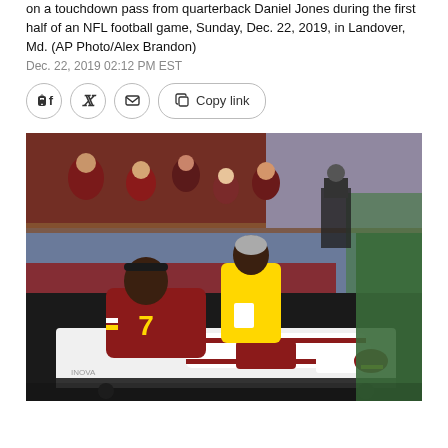on a touchdown pass from quarterback Daniel Jones during the first half of an NFL football game, Sunday, Dec. 22, 2019, in Landover, Md. (AP Photo/Alex Brandon)
Dec. 22, 2019 02:12 PM EST
[Figure (photo): An NFL football player wearing a burgundy and gold Washington Redskins jersey number 7 is lying on a medical cart being taken off the field, with a medical staff member in a yellow jacket attending to him. Fans and camera crew are visible in the background at the stadium.]